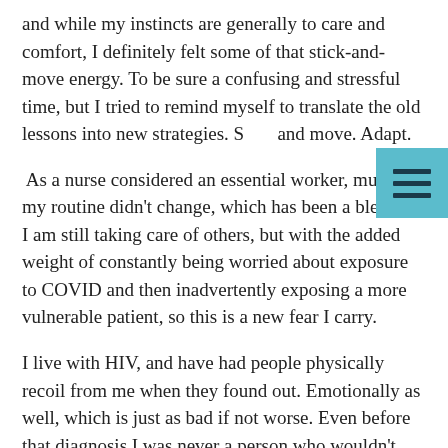and while my instincts are generally to care and comfort, I definitely felt some of that stick-and-move energy. To be sure a confusing and stressful time, but I tried to remind myself to translate the old lessons into new strategies. S… and move. Adapt.
As a nurse considered an essential worker, much of my routine didn't change, which has been a blessing. I am still taking care of others, but with the added weight of constantly being worried about exposure to COVID and then inadvertently exposing a more vulnerable patient, so this is a new fear I carry.
I live with HIV, and have had people physically recoil from me when they found out. Emotionally as well, which is just as bad if not worse. Even before that diagnosis I was never a person who wouldn't hug someone or touch them to give them comfort. COVID changed that. That stupid elbow bump greeting and social distancing go against all my…